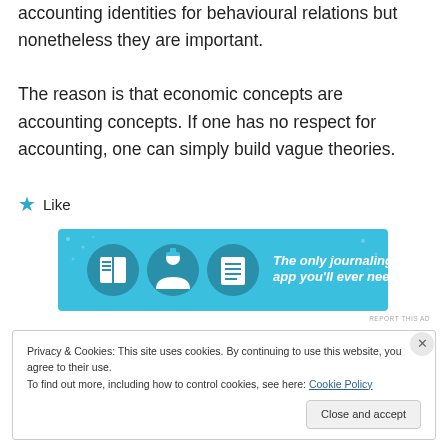accounting identities for behavioural relations but nonetheless they are important.

The reason is that economic concepts are accounting concepts. If one has no respect for accounting, one can simply build vague theories.
[Figure (infographic): Blue banner advertisement reading 'The only journaling app you'll ever need.' with illustrated icons of a book, person, and document.]
REPORT THIS AD
Privacy & Cookies: This site uses cookies. By continuing to use this website, you agree to their use.
To find out more, including how to control cookies, see here: Cookie Policy